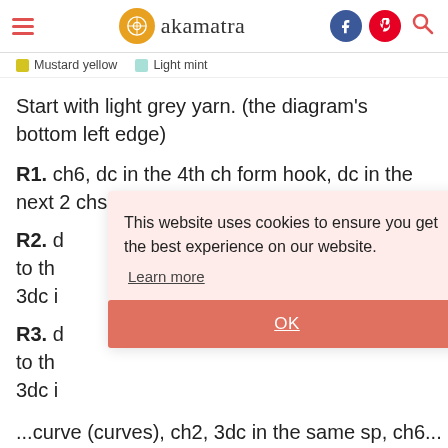akamatra
Mustard yellow   Light mint
Start with light grey yarn. (the diagram's bottom left edge)
R1. ch6, dc in the 4th ch form hook, dc in the next 2 chs, ch6, turn
R2. d... to th... 3dc i...
R3. d... to th... 3dc i...
This website uses cookies to ensure you get the best experience on our website. Learn more OK